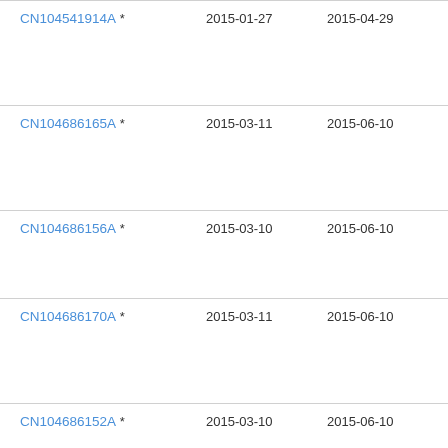| CN104541914A * | 2015-01-27 | 2015-04-29 | □□□□□ |
| CN104686165A * | 2015-03-11 | 2015-06-10 | □□□□□□□ |
| CN104686156A * | 2015-03-10 | 2015-06-10 | □□□ |
| CN104686170A * | 2015-03-11 | 2015-06-10 | □□□□□□□ |
| CN104686152A * | 2015-03-10 | 2015-06-10 | □□□ |